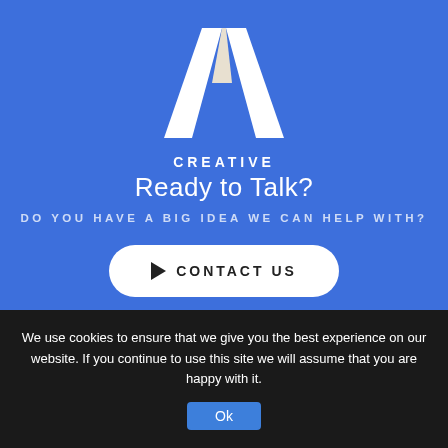[Figure (logo): White letter A logo with folded/layered design on blue background]
CREATIVE
Ready to Talk?
DO YOU HAVE A BIG IDEA WE CAN HELP WITH?
▶ CONTACT US
We use cookies to ensure that we give you the best experience on our website. If you continue to use this site we will assume that you are happy with it.
Ok